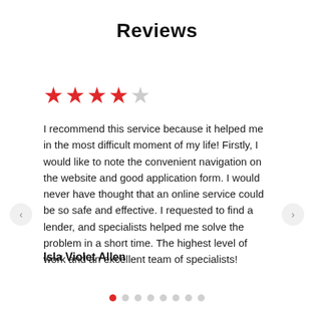Reviews
[Figure (other): 4 out of 5 red stars rating]
I recommend this service because it helped me in the most difficult moment of my life! Firstly, I would like to note the convenient navigation on the website and good application form. I would never have thought that an online service could be so safe and effective. I requested to find a lender, and specialists helped me solve the problem in a short time. The highest level of work and an excellent team of specialists!
Isla Violet Allen
[Figure (other): Carousel navigation dots: first dot active (red), remaining dots grey]
[Figure (other): Left navigation arrow button]
[Figure (other): Right navigation arrow button]